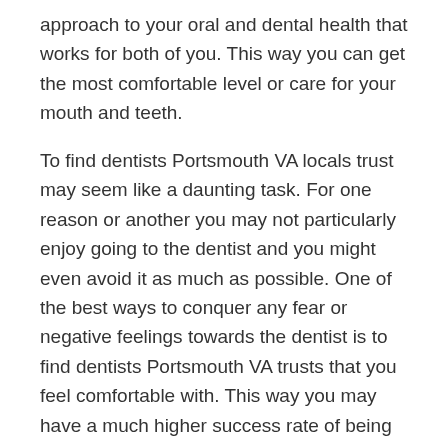approach to your oral and dental health that works for both of you. This way you can get the most comfortable level or care for your mouth and teeth.
To find dentists Portsmouth VA locals trust may seem like a daunting task. For one reason or another you may not particularly enjoy going to the dentist and you might even avoid it as much as possible. One of the best ways to conquer any fear or negative feelings towards the dentist is to find dentists Portsmouth VA trusts that you feel comfortable with. This way you may have a much higher success rate of being treated properly for your oral health care and may be likely to have less complications in the future.
You can search online to help you find dentists portsmouth va locals recommend and review dentists to get good information from past and current patients.